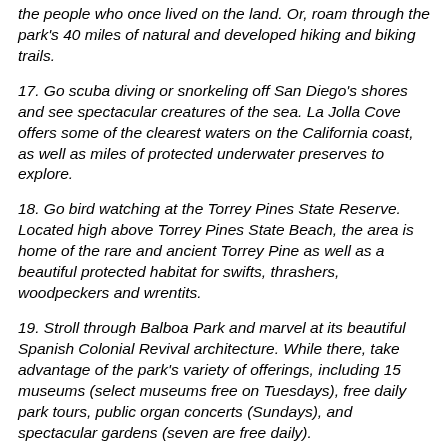the people who once lived on the land. Or, roam through the park's 40 miles of natural and developed hiking and biking trails.
17. Go scuba diving or snorkeling off San Diego's shores and see spectacular creatures of the sea. La Jolla Cove offers some of the clearest waters on the California coast, as well as miles of protected underwater preserves to explore.
18. Go bird watching at the Torrey Pines State Reserve. Located high above Torrey Pines State Beach, the area is home of the rare and ancient Torrey Pine as well as a beautiful protected habitat for swifts, thrashers, woodpeckers and wrentits.
19. Stroll through Balboa Park and marvel at its beautiful Spanish Colonial Revival architecture. While there, take advantage of the park's variety of offerings, including 15 museums (select museums free on Tuesdays), free daily park tours, public organ concerts (Sundays), and spectacular gardens (seven are free daily).